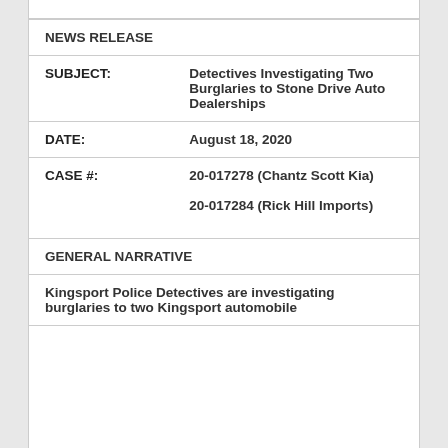NEWS RELEASE
| SUBJECT: | Detectives Investigating Two Burglaries to Stone Drive Auto Dealerships |
| DATE: | August 18, 2020 |
| CASE #: | 20-017278 (Chantz Scott Kia)

20-017284 (Rick Hill Imports) |
GENERAL NARRATIVE
Kingsport Police Detectives are investigating burglaries to two Kingsport automobile